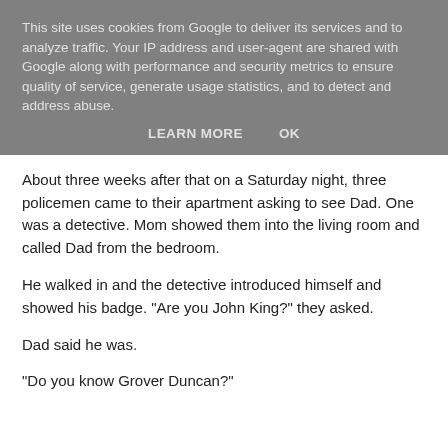This site uses cookies from Google to deliver its services and to analyze traffic. Your IP address and user-agent are shared with Google along with performance and security metrics to ensure quality of service, generate usage statistics, and to detect and address abuse.
LEARN MORE    OK
About three weeks after that on a Saturday night, three policemen came to their apartment asking to see Dad. One was a detective. Mom showed them into the living room and called Dad from the bedroom.
He walked in and the detective introduced himself and showed his badge. "Are you John King?" they asked.
Dad said he was.
"Do you know Grover Duncan?"